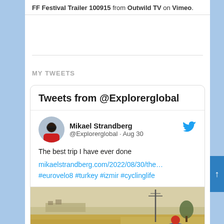FF Festival Trailer 100915 from Outwild TV on Vimeo.
MY TWEETS
Tweets from @Explorerglobal
Mikael Strandberg @Explorerglobal · Aug 30
The best trip I have ever done mikaelstrandberg.com/2022/08/30/the… #eurovelo8 #turkey #izmir #cyclinglife
[Figure (photo): Landscape photo of dry agricultural fields with a cyclist in the foreground wearing a red helmet, and a distant village on the horizon with a utility pole visible.]